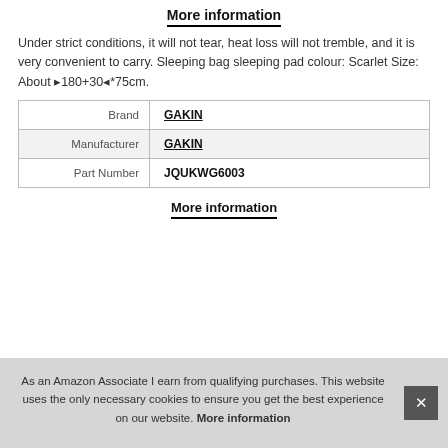More information
Under strict conditions, it will not tear, heat loss will not tremble, and it is very convenient to carry. Sleeping bag sleeping pad colour: Scarlet Size: About ⁋180+30⁌*75cm.
| Brand | GAKIN |
| Manufacturer | GAKIN |
| Part Number | JQUKWG6003 |
More information
As an Amazon Associate I earn from qualifying purchases. This website uses the only necessary cookies to ensure you get the best experience on our website. More information
2.